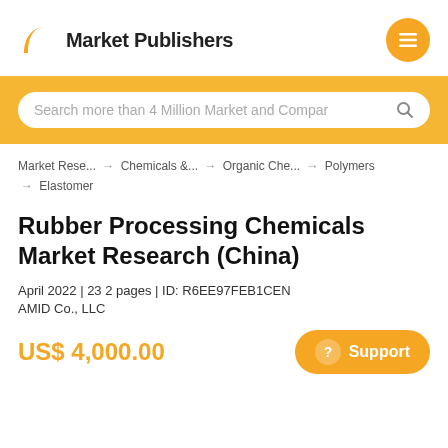Market Publishers
Search more than 4 Million Market and Compar
Market Rese... → Chemicals &... → Organic Che... → Polymers → Elastomer
Rubber Processing Chemicals Market Research (China)
April 2022 | 232 pages | ID: R6EE97FEB1CEN
AMID Co., LLC
US$ 4,000.00